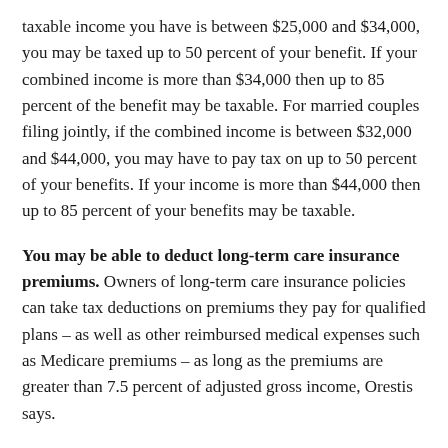taxable income you have is between $25,000 and $34,000, you may be taxed up to 50 percent of your benefit. If your combined income is more than $34,000 then up to 85 percent of the benefit may be taxable. For married couples filing jointly, if the combined income is between $32,000 and $44,000, you may have to pay tax on up to 50 percent of your benefits. If your income is more than $44,000 then up to 85 percent of your benefits may be taxable.
You may be able to deduct long-term care insurance premiums. Owners of long-term care insurance policies can take tax deductions on premiums they pay for qualified plans – as well as other reimbursed medical expenses such as Medicare premiums – as long as the premiums are greater than 7.5 percent of adjusted gross income, Orestis says.
Selling your life insurance policy has advantages. “There can